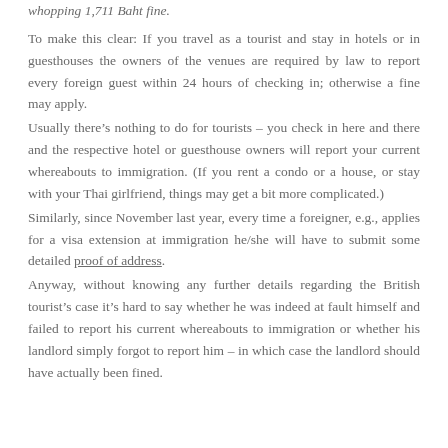whopping 1,711 Baht fine.
To make this clear: If you travel as a tourist and stay in hotels or in guesthouses the owners of the venues are required by law to report every foreign guest within 24 hours of checking in; otherwise a fine may apply.
Usually there’s nothing to do for tourists – you check in here and there and the respective hotel or guesthouse owners will report your current whereabouts to immigration. (If you rent a condo or a house, or stay with your Thai girlfriend, things may get a bit more complicated.)
Similarly, since November last year, every time a foreigner, e.g., applies for a visa extension at immigration he/she will have to submit some detailed proof of address.
Anyway, without knowing any further details regarding the British tourist’s case it’s hard to say whether he was indeed at fault himself and failed to report his current whereabouts to immigration or whether his landlord simply forgot to report him – in which case the landlord should have actually been fined.